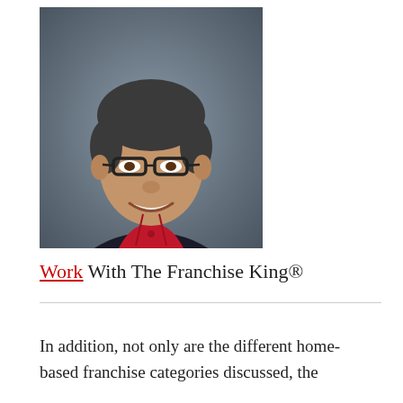[Figure (photo): Professional headshot of a middle-aged man with glasses, wearing a red shirt and dark blazer, smiling, against a gray background]
Work With The Franchise King®
In addition, not only are the different home-based franchise categories discussed, the